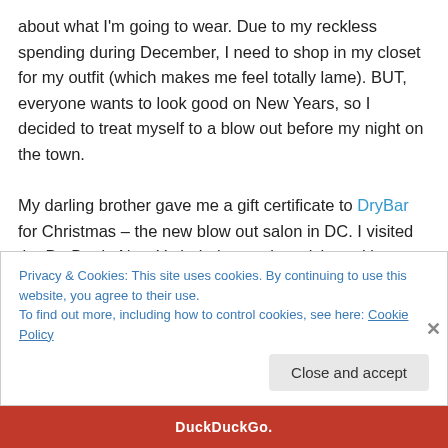about what I'm going to wear. Due to my reckless spending during December, I need to shop in my closet for my outfit (which makes me feel totally lame). BUT, everyone wants to look good on New Years, so I decided to treat myself to a blow out before my night on the town.

My darling brother gave me a gift certificate to DryBar for Christmas – the new blow out salon in DC. I visited the DryBar in New York during my last visit, and it was quite the experience. For $40, you got bottomless champagne, a shampoo, and a blow out. I paid $10 extra dollars to my
Privacy & Cookies: This site uses cookies. By continuing to use this website, you agree to their use.
To find out more, including how to control cookies, see here: Cookie Policy
Close and accept
[Figure (screenshot): Bottom orange/red bar with DuckDuckGo branding text in white]